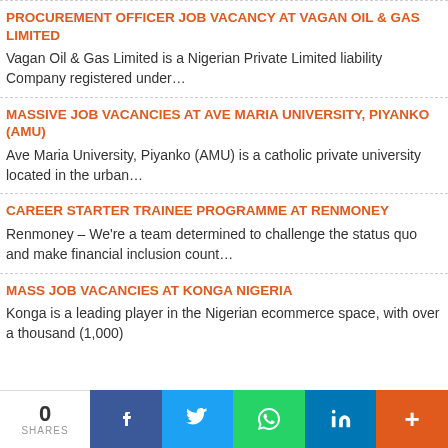PROCUREMENT OFFICER JOB VACANCY AT VAGAN OIL & GAS LIMITED
Vagan Oil & Gas Limited is a Nigerian Private Limited liability Company registered under…
MASSIVE JOB VACANCIES AT AVE MARIA UNIVERSITY, PIYANKO (AMU)
Ave Maria University, Piyanko (AMU) is a catholic private university located in the urban…
CAREER STARTER TRAINEE PROGRAMME AT RENMONEY
Renmoney – We're a team determined to challenge the status quo and make financial inclusion count…
MASS JOB VACANCIES AT KONGA NIGERIA
Konga is a leading player in the Nigerian ecommerce space, with over a thousand (1,000)